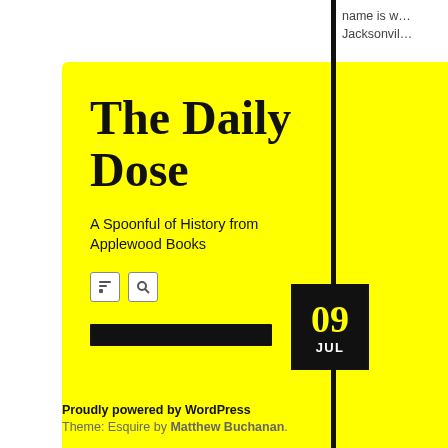The Daily Dose
A Spoonful of History from Applewood Books
name is w... Jacksonville...
Source: A... 1904.
8 YEARS AG...
florida / ja...
09 JUL
July... to th... Con...
SECTION...
Proudly powered by WordPress
Theme: Esquire by Matthew Buchanan.